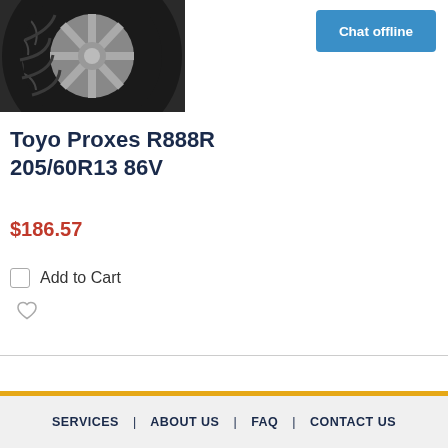[Figure (photo): Close-up photo of a Toyo Proxes R888R tire showing tread pattern and wheel rim, dark gray tire with distinctive sipe pattern]
[Figure (other): Blue 'Chat offline' button in the top right corner]
Toyo Proxes R888R 205/60R13 86V
$186.57
Add to Cart
SERVICES | ABOUT US | FAQ | CONTACT US